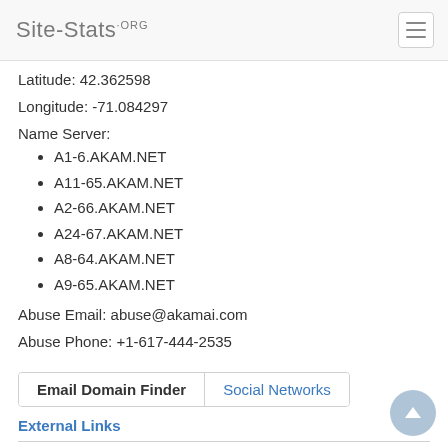Site-Stats.ORG
Latitude: 42.362598
Longitude: -71.084297
Name Server:
A1-6.AKAM.NET
A11-65.AKAM.NET
A2-66.AKAM.NET
A24-67.AKAM.NET
A8-64.AKAM.NET
A9-65.AKAM.NET
Abuse Email: abuse@akamai.com
Abuse Phone: +1-617-444-2535
Email Domain Finder | Social Networks
External Links
List of found email addresses